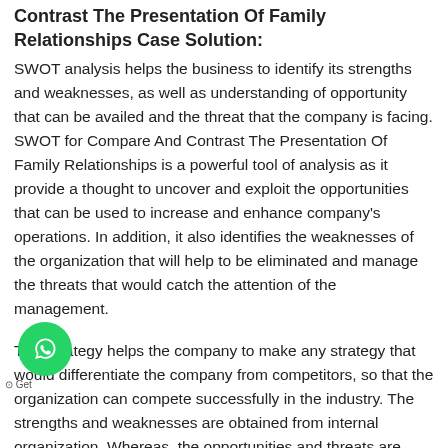Contrast The Presentation Of Family Relationships Case Solution:
SWOT analysis helps the business to identify its strengths and weaknesses, as well as understanding of opportunity that can be availed and the threat that the company is facing. SWOT for Compare And Contrast The Presentation Of Family Relationships is a powerful tool of analysis as it provide a thought to uncover and exploit the opportunities that can be used to increase and enhance company's operations. In addition, it also identifies the weaknesses of the organization that will help to be eliminated and manage the threats that would catch the attention of the management.
This strategy helps the company to make any strategy that would differentiate the company from competitors, so that the organization can compete successfully in the industry. The strengths and weaknesses are obtained from internal organization. Whereas, the opportunities and threats are generally obtained from external environment of organization.